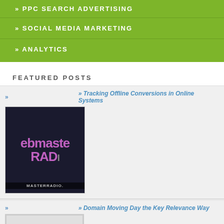» PPC SEARCH ADVERTISING
» SOCIAL MEDIA MARKETING
» ANALYTICS
FEATURED POSTS
» Tracking Offline Conversions in Online Systems
[Figure (photo): Webmaster Radio logo image showing 'ebmaste RAD MASTERRADIO.' text on dark background]
» Domain Moving Day the Key Relevance Way
[Figure (photo): No Images placeholder box]